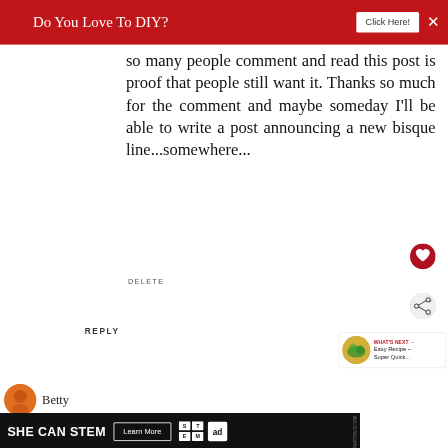[Figure (screenshot): Red banner advertisement: 'Do You Love To DIY?' with 'Click Here!' button and close X]
so many people comment and read this post is proof that people still want it. Thanks so much for the comment and maybe someday I'll be able to write a post announcing a new bisque line...somewhere...
DELETE
REPLY
[Figure (screenshot): What's Next widget showing food image thumbnail with text: WHAT'S NEXT → Easy Recipe ~ Super Quick...]
Betty
[Figure (screenshot): Bottom advertisement banner: SHE CAN STEM - Learn More, with STEM and Ad Council logos]